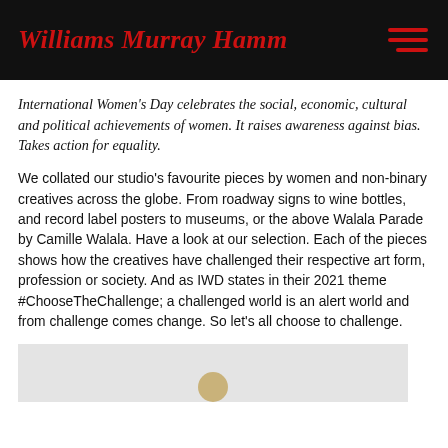Williams Murray Hamm
International Women's Day celebrates the social, economic, cultural and political achievements of women. It raises awareness against bias. Takes action for equality.
We collated our studio's favourite pieces by women and non-binary creatives across the globe. From roadway signs to wine bottles, and record label posters to museums, or the above Walala Parade by Camille Walala. Have a look at our selection. Each of the pieces shows how the creatives have challenged their respective art form, profession or society. And as IWD states in their 2021 theme #ChooseTheChallenge; a challenged world is an alert world and from challenge comes change. So let's all choose to challenge.
[Figure (photo): Partial image visible at bottom of page, appears to be a colourful artwork or figure related to the article content]